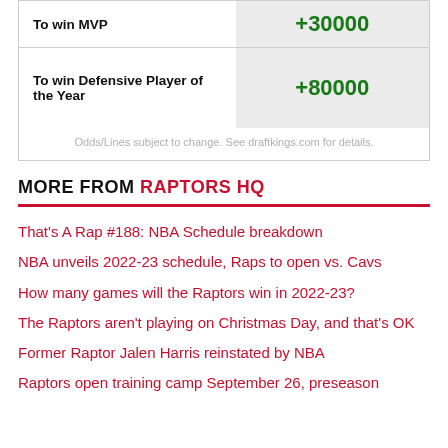|  |  |
| --- | --- |
| To win MVP | +30000 |
| To win Defensive Player of the Year | +80000 |
Odds/Lines subject to change. See draftkings.com for details.
MORE FROM RAPTORS HQ
That's A Rap #188: NBA Schedule breakdown
NBA unveils 2022-23 schedule, Raps to open vs. Cavs
How many games will the Raptors win in 2022-23?
The Raptors aren't playing on Christmas Day, and that's OK
Former Raptor Jalen Harris reinstated by NBA
Raptors open training camp September 26, preseason